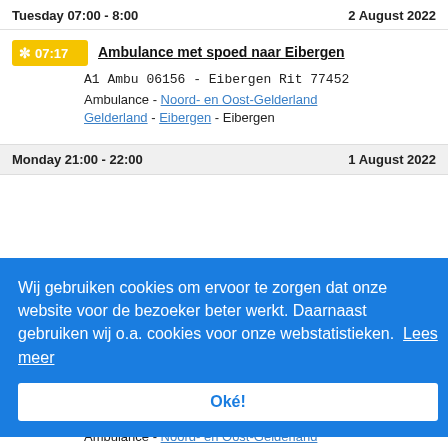Tuesday 07:00 - 8:00 | 2 August 2022
Ambulance met spoed naar Eibergen
A1 Ambu 06156 - Eibergen Rit 77452
Ambulance - Noord- en Oost-Gelderland
Gelderland - Eibergen - Eibergen
Monday 21:00 - 22:00 | 1 August 2022
Wij gebruiken cookies om ervoor te zorgen dat onze website voor de bezoeker beter werkt. Daarnaast gebruiken wij o.a. cookies voor onze webstatistieken. Lees meer
Oké!
July 2022
Ambulance - Noord- en Oost-Gelderland